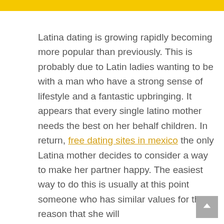Latina dating is growing rapidly becoming more popular than previously. This is probably due to Latin ladies wanting to be with a man who have a strong sense of lifestyle and a fantastic upbringing. It appears that every single latino mother needs the best on her behalf children. In return, free dating sites in mexico the only Latina mother decides to consider a way to make her partner happy. The easiest way to do this is usually at this point someone who has similar values for the reason that she will